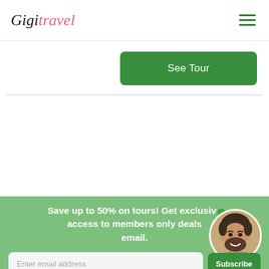GigiTravel
See Tour
Save up to 50% on tours! Get exclusive access to members only deals email.
[Figure (photo): Round avatar of a man with dark hair and beard, smiling, with a green online status dot.]
Enter email address
Subscribe